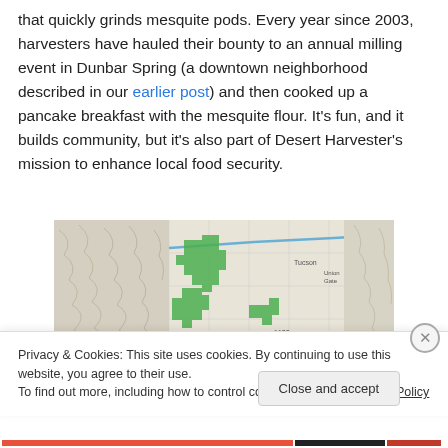that quickly grinds mesquite pods. Every year since 2003, harvesters have hauled their bounty to an annual milling event in Dunbar Spring (a downtown neighborhood described in our earlier post) and then cooked up a pancake breakfast with the mesquite flour. It's fun, and it builds community, but it's also part of Desert Harvester's mission to enhance local food security.
[Figure (map): A topographic map showing green highlighted areas representing mesquite harvesting zones in the Tucson/Dunbar Spring area. Green patches indicate designated areas on a beige/white terrain map with grid lines.]
Privacy & Cookies: This site uses cookies. By continuing to use this website, you agree to their use.
To find out more, including how to control cookies, see here: Cookie Policy
Close and accept